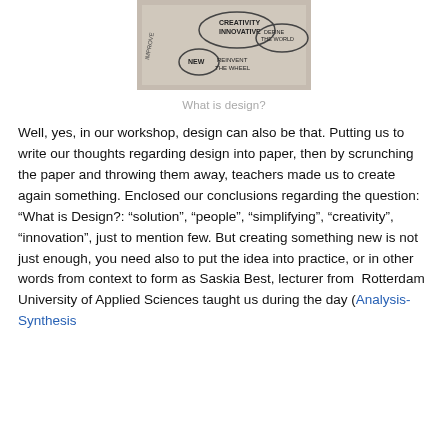[Figure (photo): A whiteboard or paper with handwritten words related to design including: creativity, innovative, define the world, new, reinvent the wheel, improve]
What is design?
Well, yes, in our workshop, design can also be that. Putting us to write our thoughts regarding design into paper, then by scrunching the paper and throwing them away, teachers made us to create again something. Enclosed our conclusions regarding the question: “What is Design?: “solution”, “people”, “simplifying”, “creativity”, “innovation”, just to mention few. But creating something new is not just enough, you need also to put the idea into practice, or in other words from context to form as Saskia Best, lecturer from Rotterdam University of Applied Sciences taught us during the day (Analysis-Synthesis